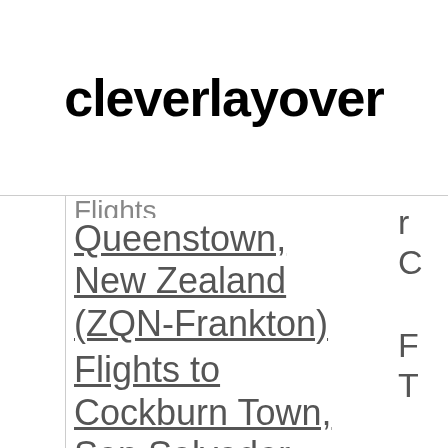cleverlayover
Queenstown, New Zealand (ZQN-Frankton) Flights to Cockburn Town, San Salvador